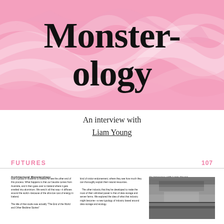[Figure (illustration): Pink marbled abstract background with swirling white textures, behind the large title text 'Monster-ology']
Monster-ology
An interview with Liam Young
FUTURES
107
Architectural Monsterology
took a group of students to Iceland to see the other end of this process. What happens is that our bauxite comes from Australia, and it then goes over to Iceland where it gets smelted into aluminium. We send it all that way—it diffuses around the world—because of the ultra low cost of energy in Iceland. The title of that studio was actually "The End of the World and Other Bedtime Stories"
kind of visitor endorsement, where they see how much they can thoroughly exploit their natural resources. The other industry that they've developed to make the most of their unlimited power is that of data storage and server farms. We explored the idea of what that industry might become—a new typology of industry based around data storage and ecology.
An interview with Liam Young
[Figure (photo): Black and white photograph showing a dramatic sky with dark clouds and a flat landscape or horizon below]